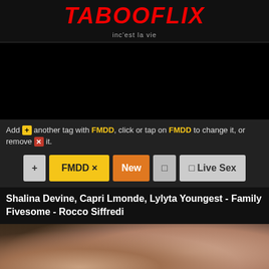TABOOFLIX — inc'est la vie
[Figure (screenshot): Black video player area]
Add + another tag with FMDD, click or tap on FMDD to change it, or remove x it.
[Figure (screenshot): Tag buttons row: + | FMDD x | New | icon | Live Sex]
Shalina Devine, Capri Lmonde, Lylyta Youngest - Family Fivesome - Rocco Siffredi
[Figure (photo): Thumbnail image of video content]